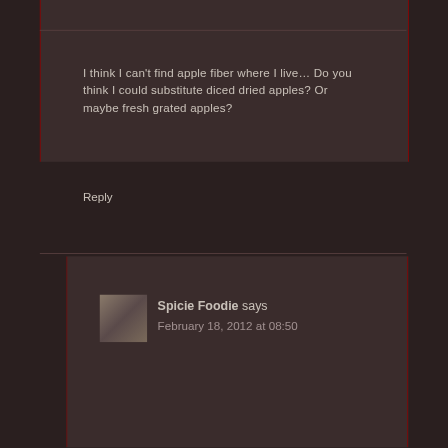I think I can't find apple fiber where I live… Do you think I could substitute diced dried apples? Or maybe fresh grated apples?
Reply
Spicie Foodie says
February 18, 2012 at 08:50